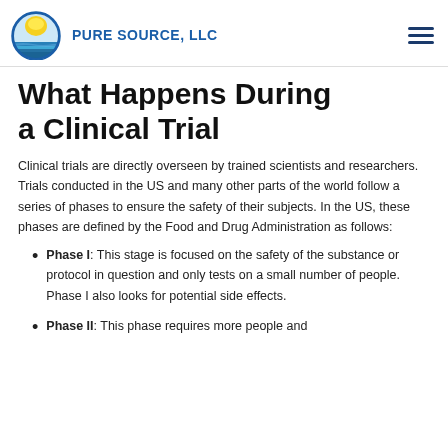PURE SOURCE, LLC
What Happens During a Clinical Trial
Clinical trials are directly overseen by trained scientists and researchers. Trials conducted in the US and many other parts of the world follow a series of phases to ensure the safety of their subjects. In the US, these phases are defined by the Food and Drug Administration as follows:
Phase I: This stage is focused on the safety of the substance or protocol in question and only tests on a small number of people. Phase I also looks for potential side effects.
Phase II: This phase requires more people and